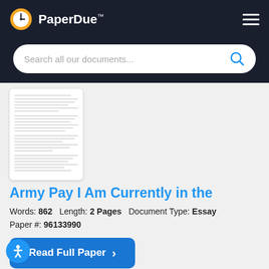PaperDue™
[Figure (screenshot): Search bar with placeholder 'Search all our documents...' and blue search icon]
[Figure (screenshot): Thumbnail preview of a multi-page document with text lines]
Army Pay I Am Currently in the
Words: 862   Length: 2 Pages   Document Type: Essay
Paper #: 96133990
Read Full Paper ›